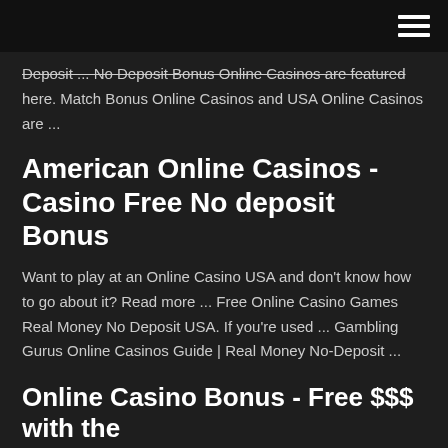[navigation bar with hamburger menu]
Deposit ... No Deposit Bonus Online Casinos are featured here. Match Bonus Online Casinos and USA Online Casinos are ...
American Online Casinos - Casino Free No deposit Bonus
Want to play at an Online Casino USA and don't know how to go about it? Read more ... Free Online Casino Games Real Money No Deposit USA. If you're used ... Gambling Gurus Online Casinos Guide | Real Money No-Deposit ...
Online Casino Bonus - Free $$$ with the Best USA Casino ...
Latest No Deposit Casino Bonuses Popular Casinos For